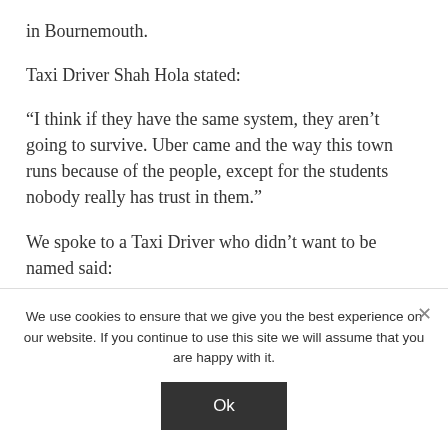in Bournemouth.
Taxi Driver Shah Hola stated:
“I think if they have the same system, they aren’t going to survive. Uber came and the way this town runs because of the people, except for the students nobody really has trust in them.”
We spoke to a Taxi Driver who didn’t want to be named said:
We use cookies to ensure that we give you the best experience on our website. If you continue to use this site we will assume that you are happy with it.
Ok